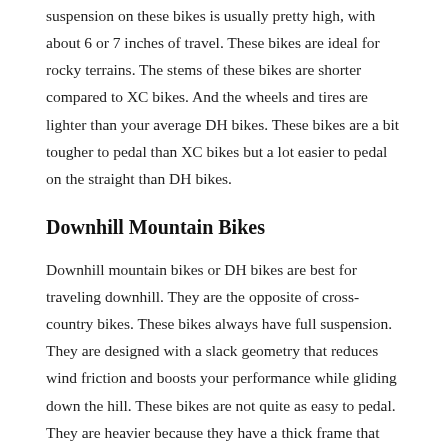suspension on these bikes is usually pretty high, with about 6 or 7 inches of travel. These bikes are ideal for rocky terrains. The stems of these bikes are shorter compared to XC bikes. And the wheels and tires are lighter than your average DH bikes. These bikes are a bit tougher to pedal than XC bikes but a lot easier to pedal on the straight than DH bikes.
Downhill Mountain Bikes
Downhill mountain bikes or DH bikes are best for traveling downhill. They are the opposite of cross-country bikes. These bikes always have full suspension. They are designed with a slack geometry that reduces wind friction and boosts your performance while gliding down the hill. These bikes are not quite as easy to pedal. They are heavier because they have a thick frame that can handle higher speeds and more impact.